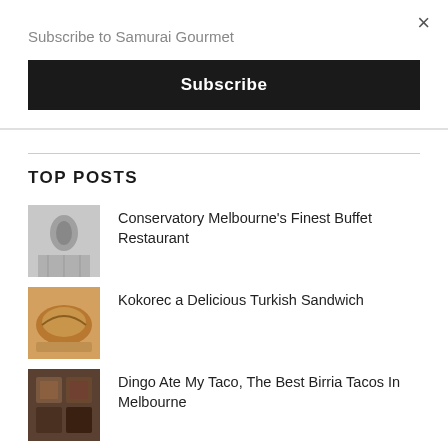×
Subscribe to Samurai Gourmet
Subscribe
TOP POSTS
Conservatory Melbourne's Finest Buffet Restaurant
Kokorec a Delicious Turkish Sandwich
Dingo Ate My Taco, The Best Birria Tacos In Melbourne
Gilson Italian Restaurant In Melbourne
Bornga The Best Korean BBQ Restaurant In Melbourne